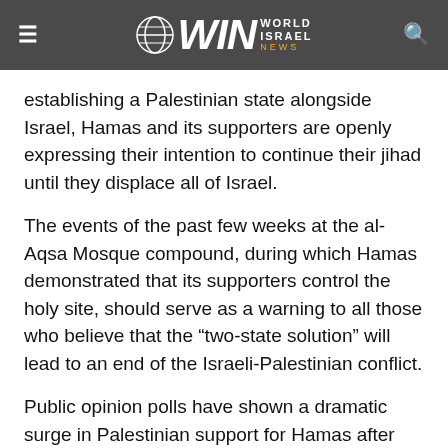WIN World Israel News
establishing a Palestinian state alongside Israel, Hamas and its supporters are openly expressing their intention to continue their jihad until they displace all of Israel.
The events of the past few weeks at the al-Aqsa Mosque compound, during which Hamas demonstrated that its supporters control the holy site, should serve as a warning to all those who believe that the “two-state solution” will lead to an end of the Israeli-Palestinian conflict.
Public opinion polls have shown a dramatic surge in Palestinian support for Hamas after last year’s war between the terrorist group and Israel. A more recent poll revealed that Hamas leader Ismail Haniyeh remains more popular than Abbas and could easily defeat him in a presidential election. The poll also disclosed that if parliamentary elections were held today, Hamas would